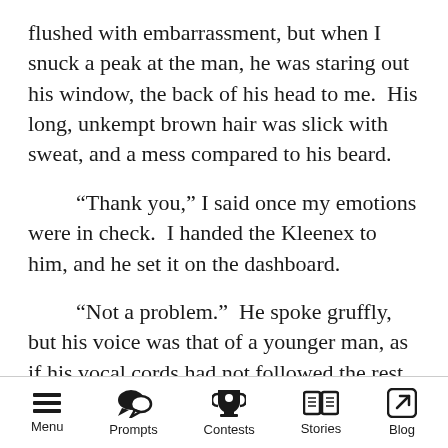flushed with embarrassment, but when I snuck a peak at the man, he was staring out his window, the back of his head to me.  His long, unkempt brown hair was slick with sweat, and a mess compared to his beard.
“Thank you,” I said once my emotions were in check.  I handed the Kleenex to him, and he set it on the dashboard.
“Not a problem.”  He spoke gruffly, but his voice was that of a younger man, as if his vocal cords had not followed the rest of him into adulthood.  “So,” he said after some minutes of silence, “any idea where we’re headed yet?”
Menu | Prompts | Contests | Stories | Blog